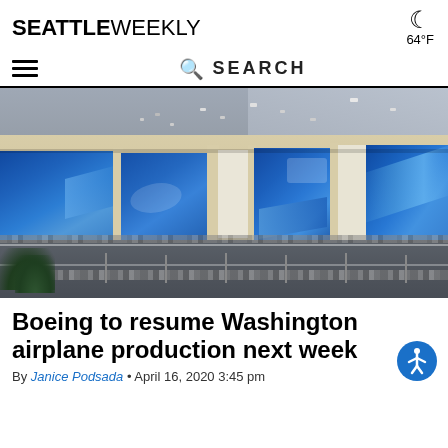SEATTLE WEEKLY
64°F
[Figure (photo): Aerial view of Boeing airplane manufacturing facility in Everett, Washington, showing large building facade with blue Boeing murals and parking lots]
Boeing to resume Washington airplane production next week
By Janice Podsada • April 16, 2020 3:45 pm